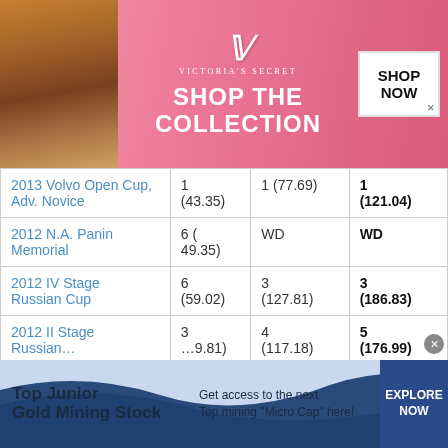[Figure (other): Victoria's Secret advertisement banner with model, VS logo, 'SHOP THE COLLECTION' text, and SHOP NOW button]
| Event | Short Program | Free Skating | Total |
| --- | --- | --- | --- |
| 2013 Volvo Open Cup, Adv. Novice | 1 (43.35) | 1 (77.69) | 1 (121.04) |
| 2012 N.A. Panin Memorial | 6 (49.35) | WD | WD |
| 2012 IV Stage Russian Cup | 6 (59.02) | 3 (127.81) | 3 (186.83) |
| 2012 II Stage Russian… | 3 (…9.81) | 4 (117.18) | 5 (176.99) |
| [obscured] | (…0.53) | 2 (114.20) | 2 (164.73) |
[Figure (other): Bottom advertisement: Top Junior Gold Mining Stock — Get access to the next Top mining Micro Cap here! EXPLORE NOW]